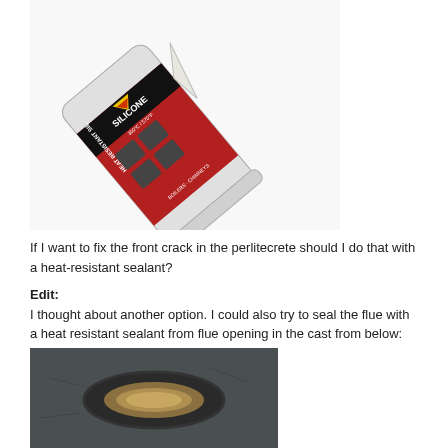[Figure (photo): A tube/cartridge of heat resistant silicone sealant with red and black label reading 'HEAT RESISTANT SILICONE' rated 300°C/570°F, for boilers and chimneys, with a white nozzle tip]
If I want to fix the front crack in the perlitecrete should I do that with a heat-resistant sealant?
Edit:
I thought about another option. I could also try to seal the flue with a heat resistant sealant from flue opening in the cast from below:
[Figure (photo): Close-up photo of a circular flue opening/hole in dark grey cast material, showing an oval/eye-shaped opening with metallic/golden interior visible]